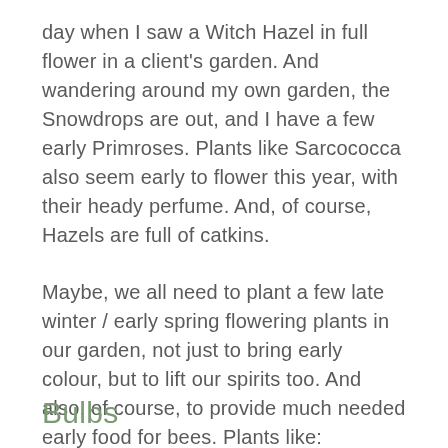day when I saw a Witch Hazel in full flower in a client's garden. And wandering around my own garden, the Snowdrops are out, and I have a few early Primroses. Plants like Sarcococca also seem early to flower this year, with their heady perfume. And, of course, Hazels are full of catkins.
Maybe, we all need to plant a few late winter / early spring flowering plants in our garden, not just to bring early colour, but to lift our spirits too. And also, of course, to provide much needed early food for bees. Plants like:
Bulbs